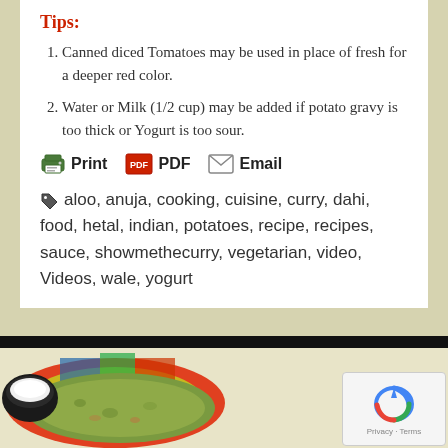Tips:
Canned diced Tomatoes may be used in place of fresh for a deeper red color.
Water or Milk (1/2 cup) may be added if potato gravy is too thick or Yogurt is too sour.
Print  PDF  Email
aloo, anuja, cooking, cuisine, curry, dahi, food, hetal, indian, potatoes, recipe, recipes, sauce, showmethecurry, vegetarian, video, Videos, wale, yogurt
[Figure (photo): Food photo showing green flatbread with a dark bowl of white cream/yogurt on a colorful plate]